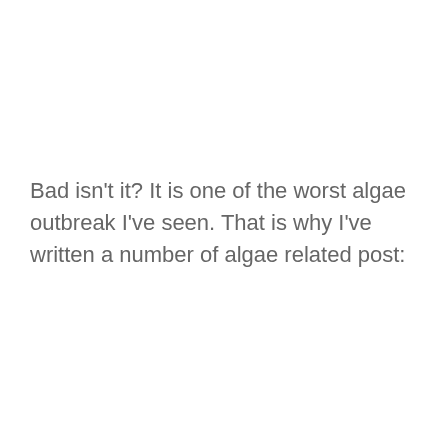Bad isn't it? It is one of the worst algae outbreak I've seen. That is why I've written a number of algae related post: